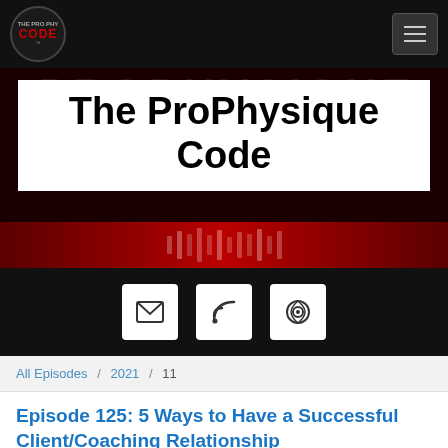The ProPhysique Code
[Figure (screenshot): Hero banner with 'The ProPhysique Code' title in bold black text on white background, overlaid on a dark red background with decorative bars at the bottom]
[Figure (infographic): Black bar with three white icon buttons: email/envelope, RSS feed, and Spotify]
All Episodes / 2021 / 11
Episode 125: 5 Ways to Have a Successful Client/Coaching Relationship
THE PROPHYSIQUE CODE
Episode 125: 5 Ways to Have a Successful Clie...